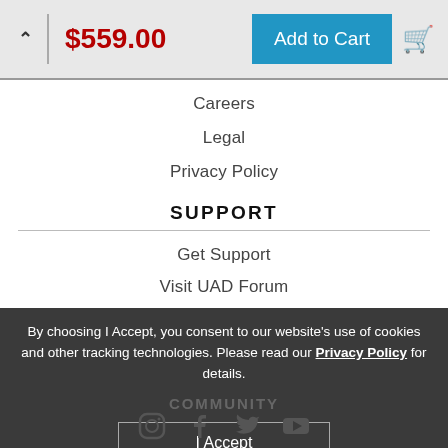$559.00  Add to Cart
Careers
Legal
Privacy Policy
SUPPORT
Get Support
Visit UAD Forum
Download UAD Software
By choosing I Accept, you consent to our website's use of cookies and other tracking technologies. Please read our Privacy Policy for details.
COMMUNITY
I Accept